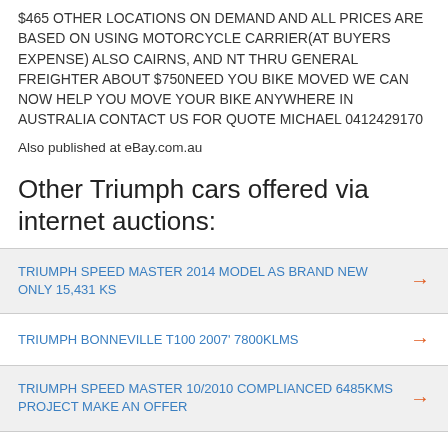$465 OTHER LOCATIONS ON DEMAND AND ALL PRICES ARE BASED ON USING MOTORCYCLE CARRIER(AT BUYERS EXPENSE) ALSO CAIRNS, AND NT THRU GENERAL FREIGHTER ABOUT $750NEED YOU BIKE MOVED WE CAN NOW HELP YOU MOVE YOUR BIKE ANYWHERE IN AUSTRALIA CONTACT US FOR QUOTE MICHAEL 0412429170
Also published at eBay.com.au
Other Triumph cars offered via internet auctions:
TRIUMPH SPEED MASTER 2014 MODEL AS BRAND NEW ONLY 15,431 Ks
TRIUMPH BONNEVILLE T100 2007' 7800Klms
TRIUMPH SPEED MASTER 10/2010 COMPLIANCED 6485KMS PROJECT MAKE AN OFFER
Triumph Sprint 1050 2008